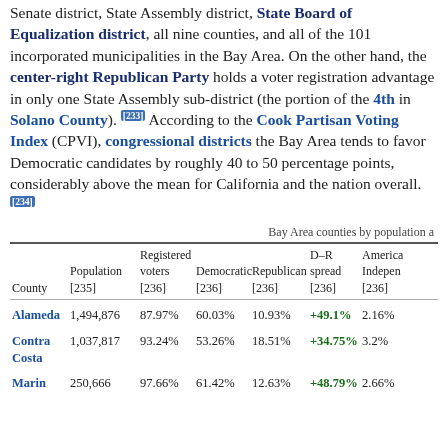Senate district, State Assembly district, State Board of Equalization district, all nine counties, and all of the 101 incorporated municipalities in the Bay Area. On the other hand, the center-right Republican Party holds a voter registration advantage in only one State Assembly sub-district (the portion of the 4th in Solano County). [233] According to the Cook Partisan Voting Index (CPVI), congressional districts the Bay Area tends to favor Democratic candidates by roughly 40 to 50 percentage points, considerably above the mean for California and the nation overall. [234]
Bay Area counties by population a...
| County | Population [235] | Registered voters [236] | Democratic [236] | Republican [236] | D–R spread [236] | American Independe... [236] |
| --- | --- | --- | --- | --- | --- | --- |
| Alameda | 1,494,876 | 87.97% | 60.03% | 10.93% | +49.1% | 2.16% |
| Contra Costa | 1,037,817 | 93.24% | 53.26% | 18.51% | +34.75% | 3.2% |
| Marin | 250,666 | 97.66% | 61.42% | 12.63% | +48.79% | 2.66% |